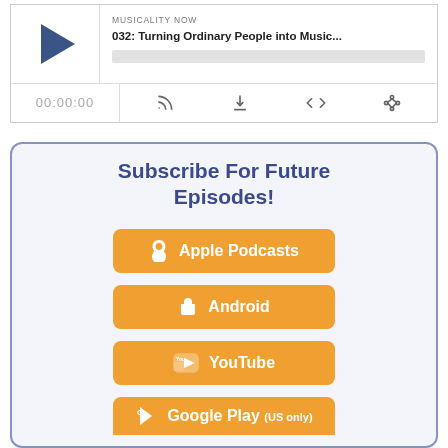[Figure (screenshot): Podcast audio player widget showing play button, episode info for 'MUSICALITY NOW - 032: Turning Ordinary People into Music...', progress bar, time display 00:00:00, and control icons for RSS, download, embed, and share.]
Subscribe For Future Episodes!
Apple Podcasts
Android
YouTube
Google Play (US only)